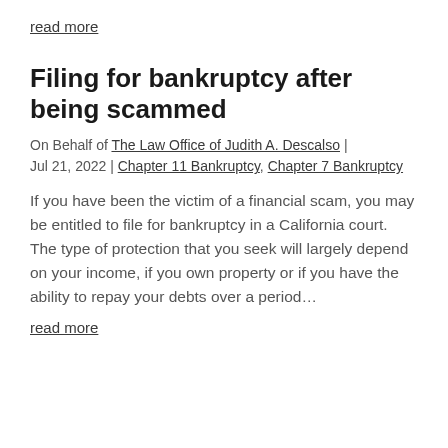read more
Filing for bankruptcy after being scammed
On Behalf of The Law Office of Judith A. Descalso | Jul 21, 2022 | Chapter 11 Bankruptcy, Chapter 7 Bankruptcy
If you have been the victim of a financial scam, you may be entitled to file for bankruptcy in a California court. The type of protection that you seek will largely depend on your income, if you own property or if you have the ability to repay your debts over a period…
read more